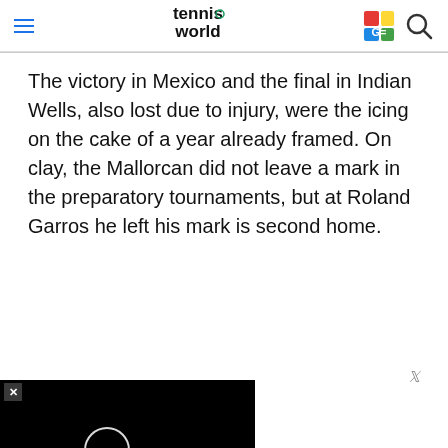Tennis World
The victory in Mexico and the final in Indian Wells, also lost due to injury, were the icing on the cake of a year already framed. On clay, the Mallorcan did not leave a mark in the preparatory tournaments, but at Roland Garros he left his mark is second home.
[Figure (other): Black video player overlay with a circular loading/play indicator, with a close (x) button in the top-left corner.]